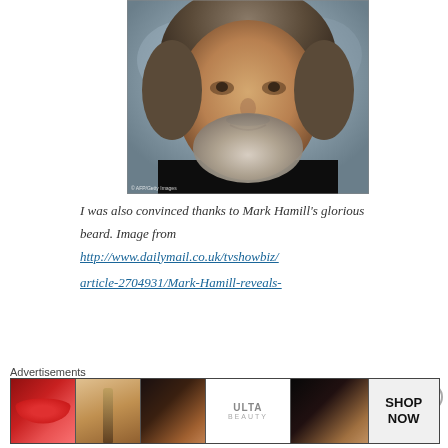[Figure (photo): Portrait photo of Mark Hamill with grey-streaked hair and beard, wearing a dark jacket. Photo credit: AFP/Getty Images.]
I was also convinced thanks to Mark Hamill's glorious beard. Image from http://www.dailymail.co.uk/tvshowbiz/article-2704931/Mark-Hamill-reveals-
Advertisements
[Figure (photo): Ulta Beauty advertisement banner showing cosmetics imagery including lips, makeup brush, eyes, Ulta logo, and a SHOP NOW button.]